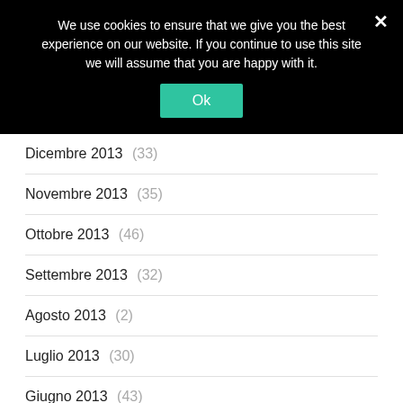We use cookies to ensure that we give you the best experience on our website. If you continue to use this site we will assume that you are happy with it.
Dicembre 2013 (33)
Novembre 2013 (35)
Ottobre 2013 (46)
Settembre 2013 (32)
Agosto 2013 (2)
Luglio 2013 (30)
Giugno 2013 (43)
Maggio 2013 (64)
Aprile 2013 (50)
Marzo 2013 (51)